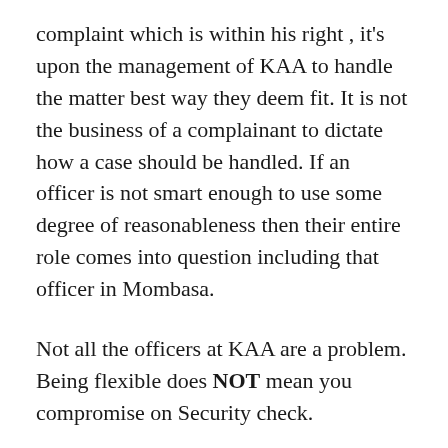complaint which is within his right , it's upon the management of KAA to handle the matter best way they deem fit. It is not the business of a complainant to dictate how a case should be handled. If an officer is not smart enough to use some degree of reasonableness then their entire role comes into question including that officer in Mombasa.
Not all the officers at KAA are a problem. Being flexible does NOT mean you compromise on Security check.
Please cut CS Matiangi some slack and my fellow Kenyans on social media relax.